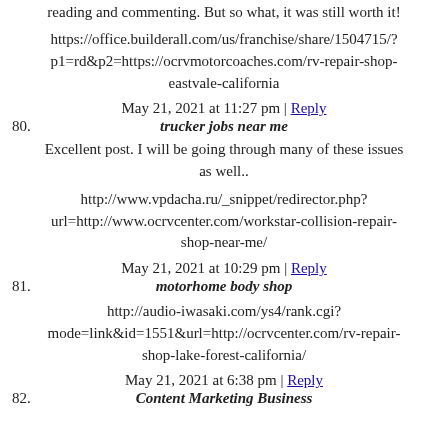reading and commenting. But so what, it was still worth it!
https://office.builderall.com/us/franchise/share/1504715/?p1=rd&p2=https://ocrvmotorcoaches.com/rv-repair-shop-eastvale-california
May 21, 2021 at 11:27 pm | Reply
80. trucker jobs near me
Excellent post. I will be going through many of these issues as well..
http://www.vpdacha.ru/_snippet/redirector.php?url=http://www.ocrvcenter.com/workstar-collision-repair-shop-near-me/
May 21, 2021 at 10:29 pm | Reply
81. motorhome body shop
http://audio-iwasaki.com/ys4/rank.cgi?mode=link&id=1551&url=http://ocrvcenter.com/rv-repair-shop-lake-forest-california/
May 21, 2021 at 6:38 pm | Reply
82. Content Marketing Business